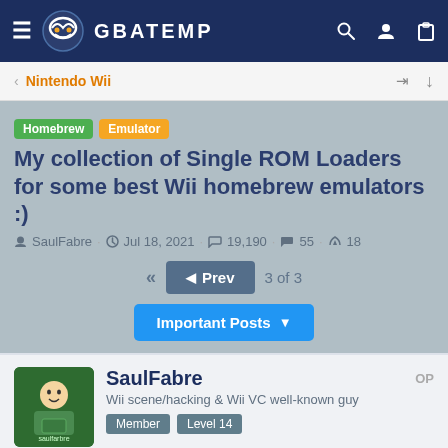GBATEMP
Nintendo Wii
Homebrew Emulator My collection of Single ROM Loaders for some best Wii homebrew emulators :)
SaulFabre · Jul 18, 2021 · 19,190 · 55 · 18
« Prev  3 of 3
Important Posts
SaulFabre OP
Wii scene/hacking & Wii VC well-known guy
Member  Level 14
Feb 20, 2022  #41